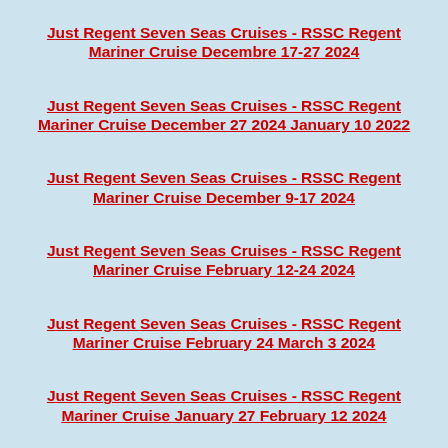Just Regent Seven Seas Cruises - RSSC Regent Mariner Cruise Decembre 17-27 2024
Just Regent Seven Seas Cruises - RSSC Regent Mariner Cruise December 27 2024 January 10 2022
Just Regent Seven Seas Cruises - RSSC Regent Mariner Cruise December 9-17 2024
Just Regent Seven Seas Cruises - RSSC Regent Mariner Cruise February 12-24 2024
Just Regent Seven Seas Cruises - RSSC Regent Mariner Cruise February 24 March 3 2024
Just Regent Seven Seas Cruises - RSSC Regent Mariner Cruise January 27 February 12 2024